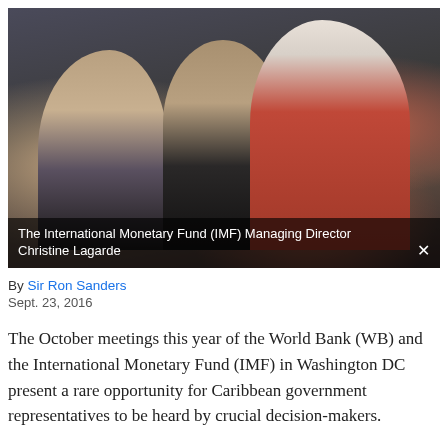[Figure (photo): Photograph of the International Monetary Fund (IMF) Managing Director Christine Lagarde seated in an audience with other attendees at what appears to be a formal meeting or conference.]
The International Monetary Fund (IMF) Managing Director Christine Lagarde
By Sir Ron Sanders
Sept. 23, 2016
The October meetings this year of the World Bank (WB) and the International Monetary Fund (IMF) in Washington DC present a rare opportunity for Caribbean government representatives to be heard by crucial decision-makers.